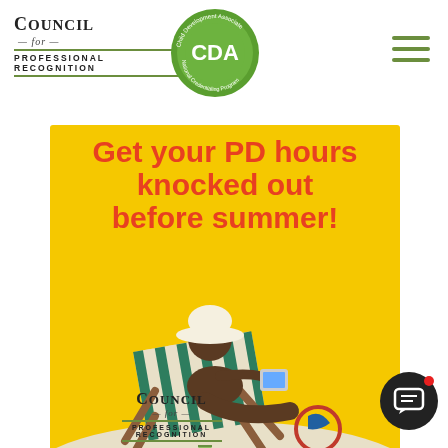[Figure (logo): Council for Professional Recognition logo with text and green horizontal lines]
[Figure (logo): CDA Child Development Associate National Credentialing Program circular green badge logo]
[Figure (illustration): Promotional banner on yellow background showing a woman relaxing in a beach chair using a tablet, with text 'Get your PD hours knocked out before summer!' in red bold font. ChildCare Education Institute logo visible at bottom right.]
[Figure (logo): Council for Professional Recognition footer logo]
[Figure (logo): Chat button with message icon in dark circle with red dot notification]